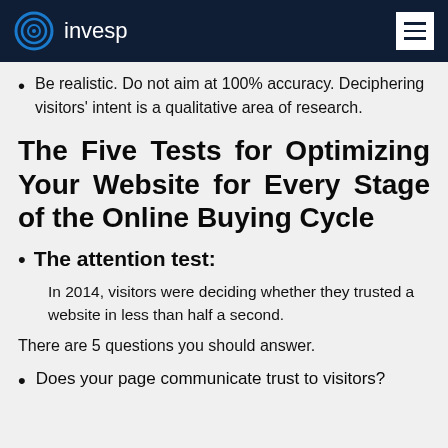invesp
Be realistic. Do not aim at 100% accuracy. Deciphering visitors' intent is a qualitative area of research.
The Five Tests for Optimizing Your Website for Every Stage of the Online Buying Cycle
The attention test:
In 2014, visitors were deciding whether they trusted a website in less than half a second.
There are 5 questions you should answer.
Does your page communicate trust to visitors?